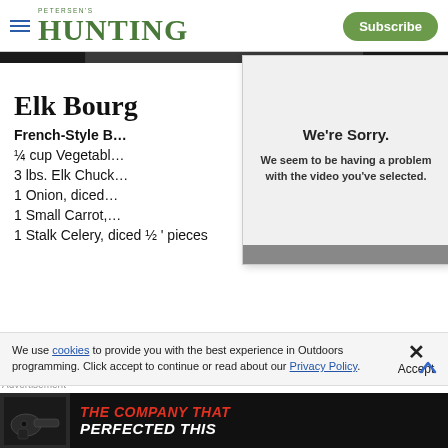PETERSEN'S HUNTING — Subscribe
[Figure (photo): Dark photo strip, partially visible at top of content]
Elk Bourg...
French-Style B...
¼ cup Vegetabl...
3 lbs. Elk Chuck...
1 Onion, diced...
1 Small Carrot,...
1 Stalk Celery, diced ½ ' pieces
[Figure (screenshot): Video error overlay popup: 'We're Sorry. We seem to be having a problem with the video you've selected.']
We use cookies to provide you with the best experience in Outdoors programming. Click accept to continue or read about our Privacy Policy.
[Figure (photo): Advertisement banner: handgun image with text 'THE COMPANY THAT PERFECTED THIS']